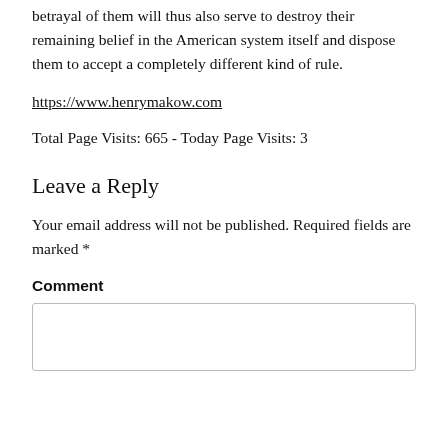betrayal of them will thus also serve to destroy their remaining belief in the American system itself and dispose them to accept a completely different kind of rule.
https://www.henrymakow.com
Total Page Visits: 665 - Today Page Visits: 3
Leave a Reply
Your email address will not be published. Required fields are marked *
Comment